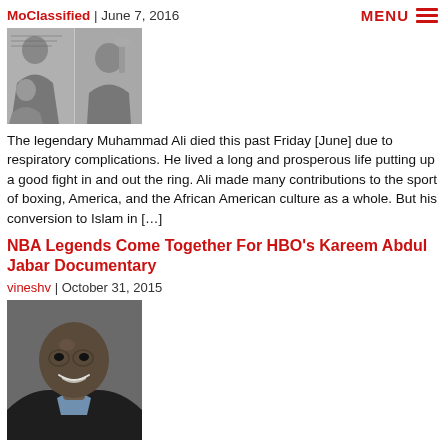MoClassified | June 7, 2016
[Figure (photo): Black and white photos of Muhammad Ali — one seated signing something, one with a camera or instrument]
The legendary Muhammad Ali died this past Friday [June] due to respiratory complications. He lived a long and prosperous life putting up a good fight in and out the ring. Ali made many contributions to the sport of boxing, America, and the African American culture as a whole. But his conversion to Islam in […]
NBA Legends Come Together For HBO's Kareem Abdul Jabar Documentary
vineshv | October 31, 2015
[Figure (photo): Close-up portrait of Kareem Abdul-Jabbar smiling, wearing a dark jacket]
HBO Sports and Mandalay Sports Media recently premiered their